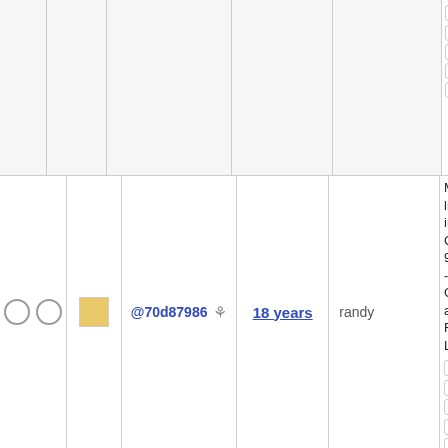| checks | color | commit | age | author | branches/tags |
| --- | --- | --- | --- | --- | --- |
|  |  |  |  |  | 13485  trunk
upgradedb
xry111/intltoo
xry111/test-20220226 |
| ○ ○ | ■ (yellow) | @70d87986 ⚙ | 18 years | randy | Moved librs...
instructions...
Chapter 9 -
Graphics an...
Font Librarie...
10.0 10.1
11.0 11.1
6.1 6.2 6...
6.2.0-rc1 6...
rc2 6.3 6.3...
6.3-rc2 6.3...
7.10 7.4
7.6 7.6-blfs
7.6-systemd
7.8 7.9 8...
8.1 8.2 8...
8.4 9.0 9...
basic
bdubbs/svn
elogind gnu...
kde5-13430
kde5-14269
kde5-14686
krejzi/svn
lazarus go... |